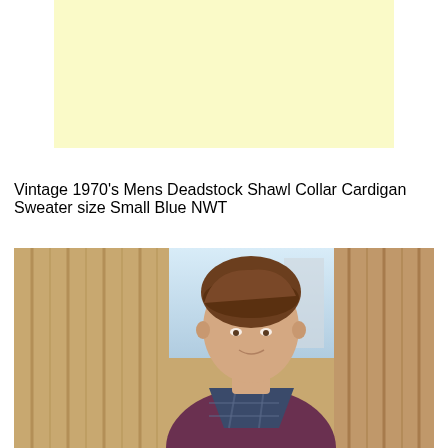[Figure (other): Pale yellow advertisement banner placeholder]
Vintage 1970's Mens Deadstock Shawl Collar Cardigan Sweater size Small Blue NWT
[Figure (photo): Photo of a young man with brown hair, smiling, wearing a dark plaid collared shirt/sweater, with tan/gold curtains in the background and a window visible behind him]